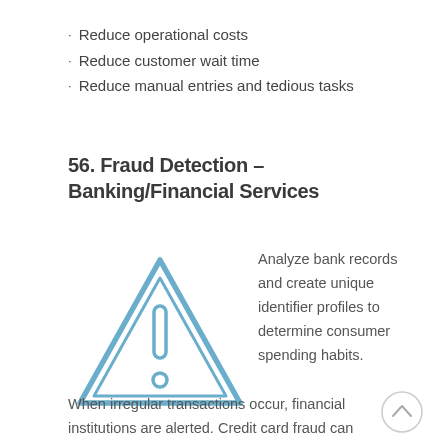Reduce operational costs
Reduce customer wait time
Reduce manual entries and tedious tasks
56. Fraud Detection – Banking/Financial Services
[Figure (illustration): Warning triangle icon with exclamation mark, drawn in blue outline style, representing fraud alert.]
Analyze bank records and create unique identifier profiles to determine consumer spending habits. When irregular transactions occur, financial institutions are alerted. Credit card fraud can